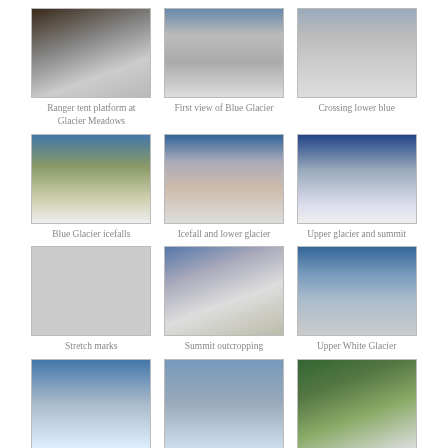[Figure (photo): Ranger tent platform at Glacier Meadows]
Ranger tent platform at Glacier Meadows
[Figure (photo): First view of Blue Glacier]
First view of Blue Glacier
[Figure (photo): Crossing lower blue]
Crossing lower blue
[Figure (photo): Blue Glacier icefalls]
Blue Glacier icefalls
[Figure (photo): Icefall and lower glacier]
Icefall and lower glacier
[Figure (photo): Upper glacier and summit]
Upper glacier and summit
[Figure (photo): Stretch marks]
Stretch marks
[Figure (photo): Summit outcropping]
Summit outcropping
[Figure (photo): Upper White Glacier]
Upper White Glacier
[Figure (photo): Glacier view from above]
[Figure (photo): Glacial crevasse or moulin]
[Figure (photo): Snow and forest scene]